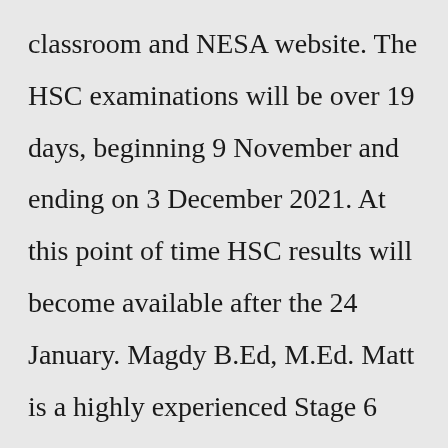classroom and NESA website. The HSC examinations will be over 19 days, beginning 9 November and ending on 3 December 2021. At this point of time HSC results will become available after the 24 January. Magdy B.Ed, M.Ed. Matt is a highly experienced Stage 6 Chemistry and Physics teacher. He has taken part in the setting and marking of numerous HSC examinations across a wide variety of Stage